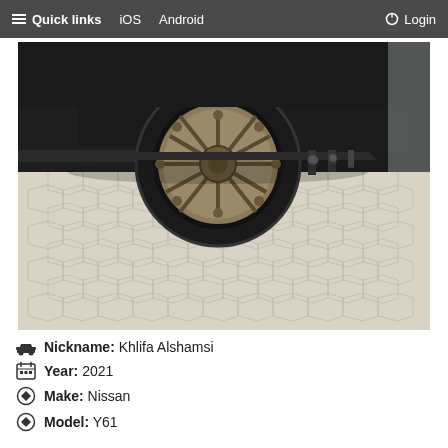≡ Quick links   iOS   Android   ⏻ Login
[Figure (photo): A black truck/SUV (Nissan Patrol Y61) photographed from rear-side angle showing large off-road wheel with chrome/gold multi-spoke rim, parked on hexagonal paver stone driveway]
🚗 Nickname: Khlifa Alshamsi
📅 Year: 2021
➡ Make: Nissan
➡ Model: Y61